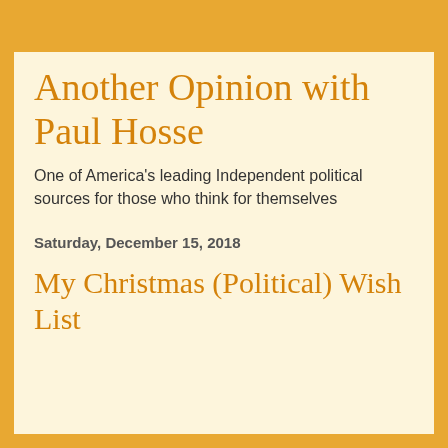Another Opinion with Paul Hosse
One of America's leading Independent political sources for those who think for themselves
Saturday, December 15, 2018
My Christmas (Political) Wish List